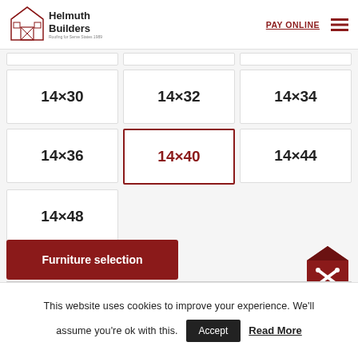[Figure (logo): Helmuth Builders logo with barn illustration and text 'Helmuth Builders, Roofing for Serve States 1989']
PAY ONLINE
| 14×30 | 14×32 | 14×34 |
| 14×36 | 14×40 | 14×44 |
| 14×48 |  |  |
Furniture selection
[Figure (illustration): Red barn icon with crossed pencils/tools overlay]
This website uses cookies to improve your experience. We'll assume you're ok with this.
Accept
Read More